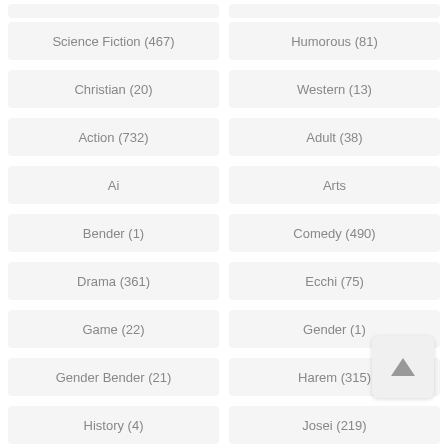Science Fiction (467)
Humorous (81)
Christian (20)
Western (13)
Action (732)
Adult (38)
Ai
Arts
Bender (1)
Comedy (490)
Drama (361)
Ecchi (75)
Game (22)
Gender (1)
Gender Bender (21)
Harem (315)
History (4)
Josei (219)
Lolicon (1)
Martial (1)